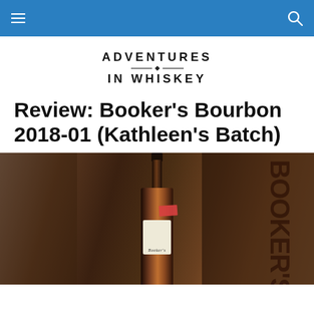Adventures in Whiskey – navigation bar
[Figure (logo): Adventures in Whiskey logo with decorative divider]
Review: Booker's Bourbon 2018-01 (Kathleen's Batch)
[Figure (photo): Close-up photo of a Booker's Bourbon bottle with a red batch label reading 2018-01, set against a blurred background of brown books/boxes]